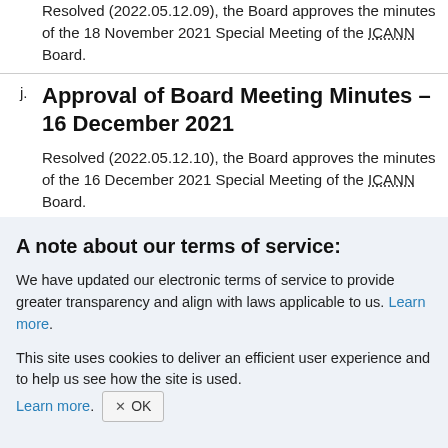Resolved (2022.05.12.09), the Board approves the minutes of the 18 November 2021 Special Meeting of the ICANN Board.
j. Approval of Board Meeting Minutes – 16 December 2021
Resolved (2022.05.12.10), the Board approves the minutes of the 16 December 2021 Special Meeting of the ICANN Board.
A note about our terms of service:
We have updated our electronic terms of service to provide greater transparency and align with laws applicable to us. Learn more.
This site uses cookies to deliver an efficient user experience and to help us see how the site is used. Learn more. OK